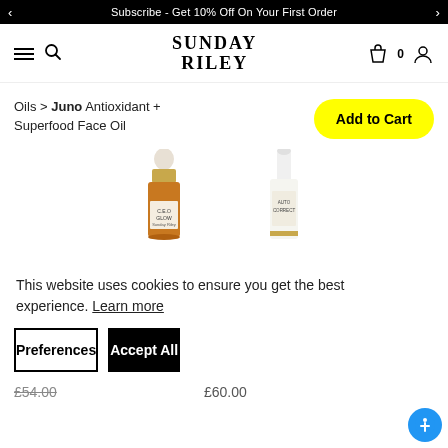Subscribe - Get 10% Off On Your First Order
[Figure (logo): Sunday Riley brand logo and navigation bar with hamburger menu, search icon, shopping bag with 0 count, and user icon]
Oils > Juno Antioxidant + Superfood Face Oil
[Figure (other): Add to Cart yellow pill-shaped button]
[Figure (photo): C.E.O. Glow face oil product with amber dropper bottle and gold cap]
[Figure (photo): Auto Correct product with white pump bottle]
This website uses cookies to ensure you get the best experience. Learn more
Preferences
Accept All
£54.00
£60.00